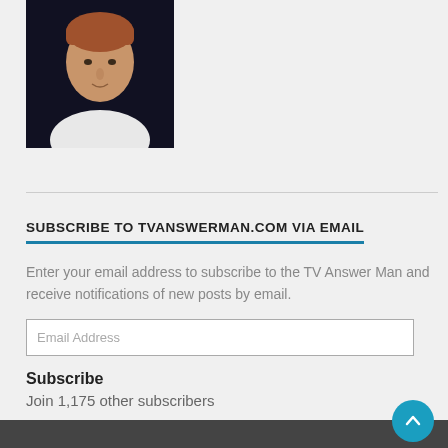[Figure (photo): Headshot of a middle-aged man with reddish-brown hair, wearing a white shirt, against a dark background.]
SUBSCRIBE TO TVANSWERMAN.COM VIA EMAIL
Enter your email address to subscribe to the TV Answer Man and receive notifications of new posts by email.
Subscribe
Join 1,175 other subscribers